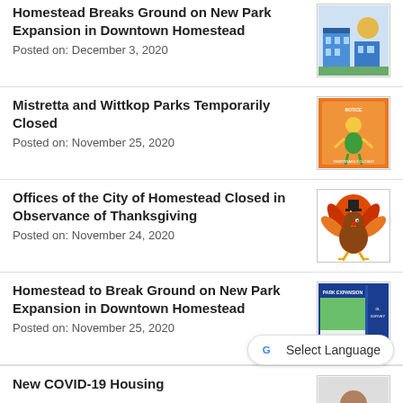Homestead Breaks Ground on New Park Expansion in Downtown Homestead
Posted on: December 3, 2020
Mistretta and Wittkop Parks Temporarily Closed
Posted on: November 25, 2020
Offices of the City of Homestead Closed in Observance of Thanksgiving
Posted on: November 24, 2020
Homestead to Break Ground on New Park Expansion in Downtown Homestead
Posted on: November 25, 2020
New COVID-19 Housing